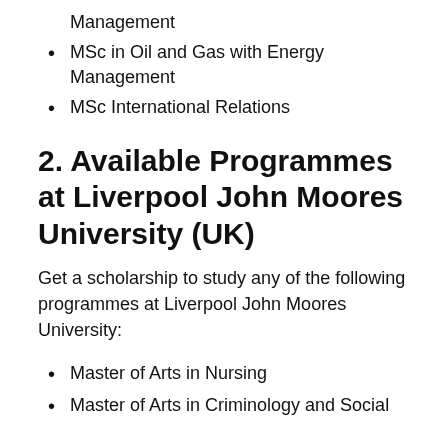Management
MSc in Oil and Gas with Energy Management
MSc International Relations
2. Available Programmes at Liverpool John Moores University (UK)
Get a scholarship to study any of the following programmes at Liverpool John Moores University:
Master of Arts in Nursing
Master of Arts in Criminology and Social